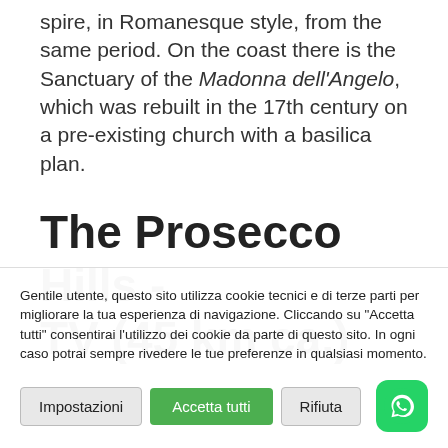spire, in Romanesque style, from the same period. On the coast there is the Sanctuary of the Madonna dell'Angelo, which was rebuilt in the 17th century on a pre-existing church with a basilica plan.
The Prosecco Hills - TV (45 km ca.)
Gentile utente, questo sito utilizza cookie tecnici e di terze parti per migliorare la tua esperienza di navigazione. Cliccando su "Accetta tutti" consentirai l'utilizzo dei cookie da parte di questo sito. In ogni caso potrai sempre rivedere le tue preferenze in qualsiasi momento.